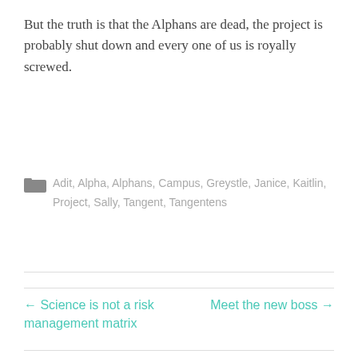But the truth is that the Alphans are dead, the project is probably shut down and every one of us is royally screwed.
Adit, Alpha, Alphans, Campus, Greystle, Janice, Kaitlin, Project, Sally, Tangent, Tangentens
← Science is not a risk management matrix
Meet the new boss →